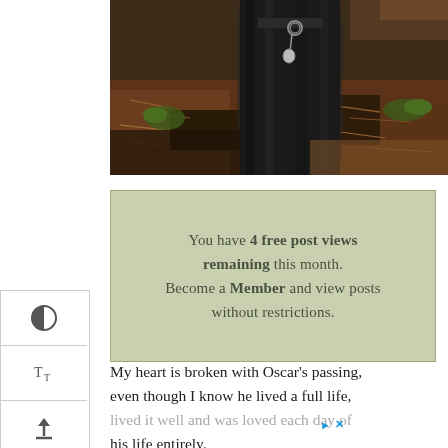[Figure (photo): Close-up photo of a black fluffy dog from behind, wearing a collar with a tag, standing on ground covered with pine needles and dry leaves. Sunlight visible in background.]
You have 4 free post views remaining this month. Become a Member and view posts without restrictions.
My heart is broken with Oscar’s passing, even though I know he lived a full life, lived it well and was loved each day of his life entirely.